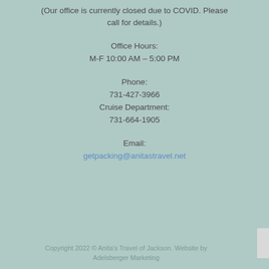(Our office is currently closed due to COVID. Please call for details.)
Office Hours:
M-F 10:00 AM – 5:00 PM
Phone:
731-427-3966
Cruise Department:
731-664-1905
Email:
getpacking@anitastravel.net
Copyright 2022 © Anita's Travel of Jackson. Website by Adelsberger Marketing